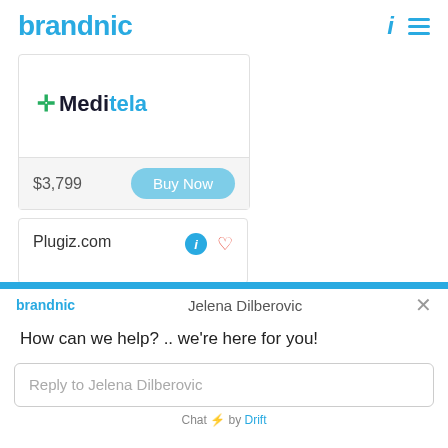brandnic
[Figure (logo): Meditela logo with green medical cross and teal text]
$3,799  Buy Now
Plugiz.com
brandnic  Jelena Dilberovic  ×
How can we help? .. we're here for you!
Reply to Jelena Dilberovic
Chat ⚡ by Drift